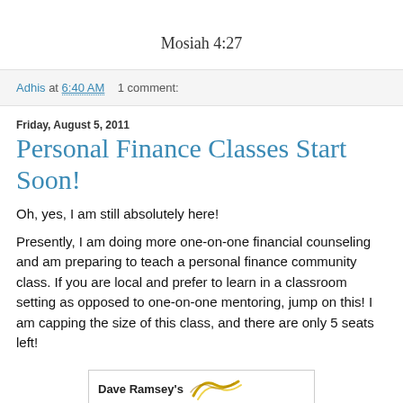Mosiah 4:27
Adhis at 6:40 AM    1 comment:
Friday, August 5, 2011
Personal Finance Classes Start Soon!
Oh, yes, I am still absolutely here!
Presently, I am doing more one-on-one financial counseling and am preparing to teach a personal finance community class. If you are local and prefer to learn in a classroom setting as opposed to one-on-one mentoring, jump on this! I am capping the size of this class, and there are only 5 seats left!
[Figure (logo): Dave Ramsey's logo with stylized graphic element]